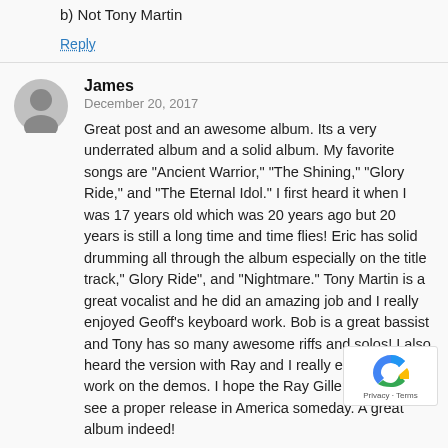b) Not Tony Martin
Reply
James
December 20, 2017
Great post and an awesome album. Its a very underrated album and a solid album. My favorite songs are "Ancient Warrior," "The Shining," "Glory Ride," and "The Eternal Idol." I first heard it when I was 17 years old which was 20 years ago but 20 years is still a long time and time flies! Eric has solid drumming all through the album especially on the title track," Glory Ride", and "Nightmare." Tony Martin is a great vocalist and he did an amazing job and I really enjoyed Geoff's keyboard work. Bob is a great bassist and Tony has so many awesome riffs and solos! I also heard the version with Ray and I really enjoyed his work on the demos. I hope the Ray Gillen version will see a proper release in America someday. A great album indeed!
Reply
Avenger